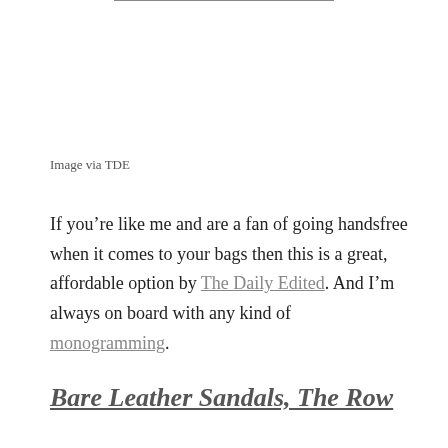Image via TDE
If you’re like me and are a fan of going handsfree when it comes to your bags then this is a great, affordable option by The Daily Edited. And I’m always on board with any kind of monogramming.
Bare Leather Sandals, The Row